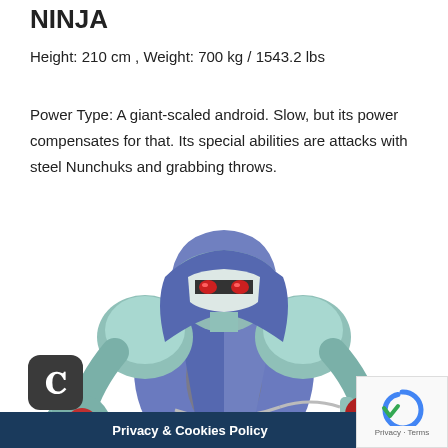NINJA
Height: 210 cm , Weight: 700 kg / 1543.2 lbs
Power Type: A giant-scaled android. Slow, but its power compensates for that. Its special abilities are attacks with steel Nunchuks and grabbing throws.
[Figure (illustration): Illustration of a large armored ninja android character with a blue/purple vest, silver metallic armor, nunchuku weapon, and red glowing eyes, facing slightly left.]
Privacy & Cookies Policy